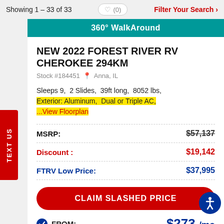Showing 1 – 33 of 33
360° WalkAround
NEW 2022 FOREST RIVER RV CHEROKEE 294KM
Stock #184451  Anna, IL
Sleeps 9,  2 Slides,  39ft long,  8052 lbs,  Exterior: Aluminum,  Dual or Triple AC,  ...View Floorplan
| Label | Value |
| --- | --- |
| MSRP: | $57,137 |
| Discount : | $19,142 |
| FTRV Low Price: | $37,995 |
CLAIM SLASHED PRICE
FROM:  $273 /mo